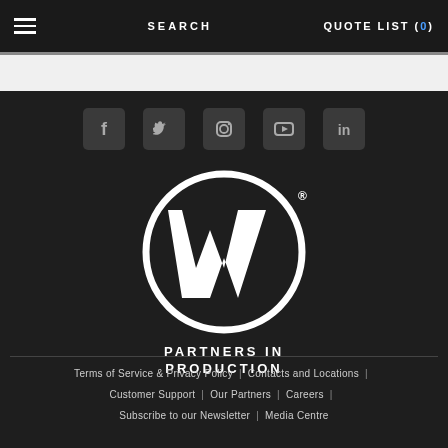SEARCH   QUOTE LIST (0)
[Figure (logo): WW Partners in Production circular logo with social media icons (Facebook, Twitter, Instagram, YouTube, LinkedIn)]
Terms of Service & Privacy Policy | Contacts and Locations | Customer Support | Our Partners | Careers | Subscribe to our Newsletter | Media Centre